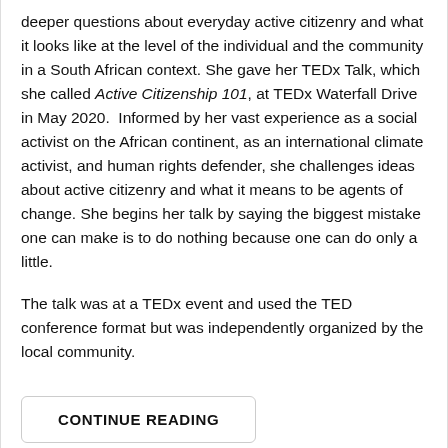deeper questions about everyday active citizenry and what it looks like at the level of the individual and the community in a South African context. She gave her TEDx Talk, which she called Active Citizenship 101, at TEDx Waterfall Drive in May 2020.  Informed by her vast experience as a social activist on the African continent, as an international climate activist, and human rights defender, she challenges ideas about active citizenry and what it means to be agents of change. She begins her talk by saying the biggest mistake one can make is to do nothing because one can do only a little.
The talk was at a TEDx event and used the TED conference format but was independently organized by the local community.
CONTINUE READING
Tags: